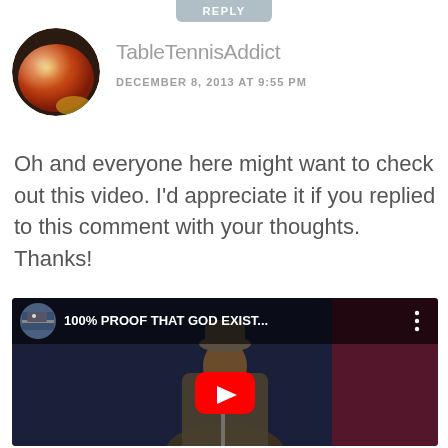REPLY
TableTennisAddict
DECEMBER 8, 2013 AT 9:55 PM
[Figure (photo): Circular avatar image showing a table tennis ball with red and gold coloring]
Oh and everyone here might want to check out this video. I'd appreciate it if you replied to this comment with your thoughts. Thanks!
[Figure (screenshot): Embedded YouTube video thumbnail showing a man speaking at a microphone, with the title '100% PROOF THAT GOD EXIST...' and a red YouTube play button overlay]